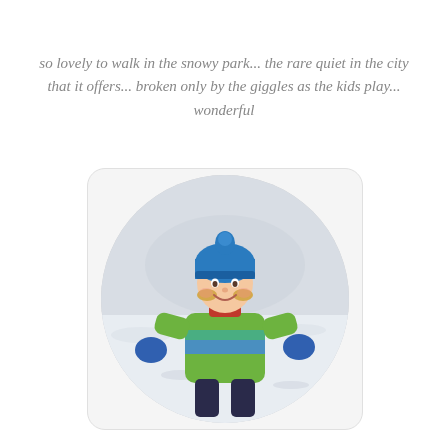so lovely to walk in the snowy park... the rare quiet in the city that it offers... broken only by the giggles as the kids play... wonderful
[Figure (photo): A child wearing a blue hat and blue gloves with a green puffy winter jacket, standing in a snowy park, smiling at the camera. The photo is presented in a circular crop inside a rounded rectangle frame.]